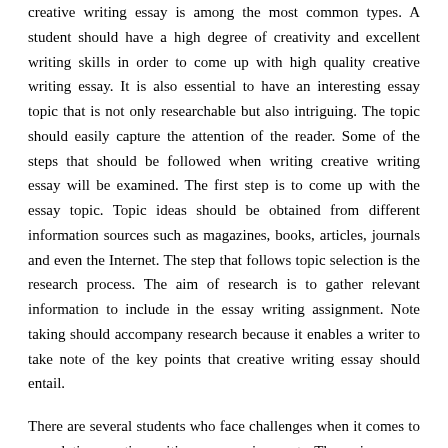Creative writing essay is among the most common types. A student should have a high degree of creativity and excellent writing skills in order to come up with high quality creative writing essay. It is also essential to have an interesting essay topic that is not only researchable but also intriguing. The topic should easily capture the attention of the reader. Some of the steps that should be followed when writing creative writing essay will be examined. The first step is to come up with the essay topic. Topic ideas should be obtained from different information sources such as magazines, books, articles, journals and even the Internet. The step that follows topic selection is the research process. The aim of research is to gather relevant information to include in the essay writing assignment. Note taking should accompany research because it enables a writer to take note of the key points that creative writing essay should entail.
There are several students who face challenges when it comes to completing creative writing essay assignments. The main